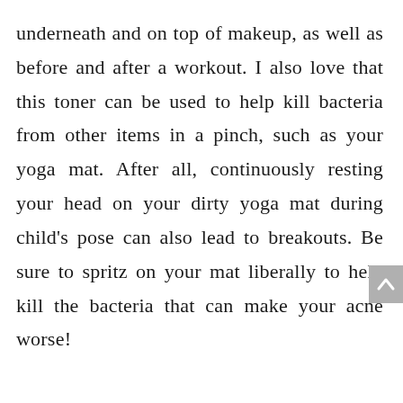underneath and on top of makeup, as well as before and after a workout. I also love that this toner can be used to help kill bacteria from other items in a pinch, such as your yoga mat. After all, continuously resting your head on your dirty yoga mat during child's pose can also lead to breakouts. Be sure to spritz on your mat liberally to help kill the bacteria that can make your acne worse!